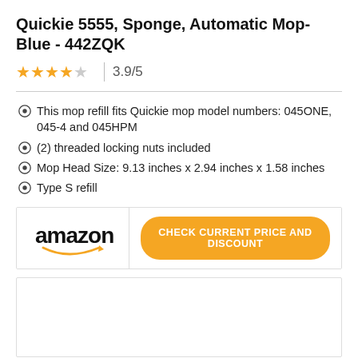Quickie 5555, Sponge, Automatic Mop- Blue - 442ZQK
3.9/5
This mop refill fits Quickie mop model numbers: 045ONE, 045-4 and 045HPM
(2) threaded locking nuts included
Mop Head Size: 9.13 inches x 2.94 inches x 1.58 inches
Type S refill
[Figure (logo): Amazon logo with smile arrow underneath]
CHECK CURRENT PRICE AND DISCOUNT